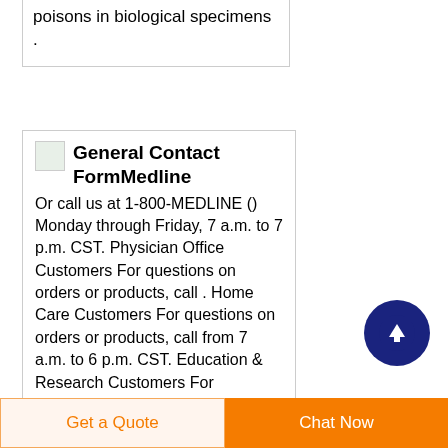poisons in biological specimens .
General Contact FormMedline
Or call us at 1-800-MEDLINE () Monday through Friday, 7 a.m. to 7 p.m. CST. Physician Office Customers For questions on orders or products, call . Home Care Customers For questions on orders or products, call from 7 a.m. to 6 p.m. CST. Education & Research Customers For questions on orders or
[Figure (other): Scroll to top button: dark navy blue circle with white upward arrow]
Get a Quote   Chat Now